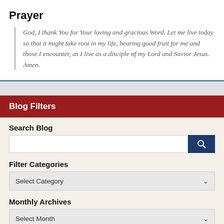Prayer
God, I thank You for Your loving and gracious Word. Let me live today so that it might take root in my life, bearing good fruit for me and those I encounter, as I live as a disciple of my Lord and Savior Jesus. Amen.
Blog Filters
Search Blog
Filter Categories
Select Category
Monthly Archives
Select Month